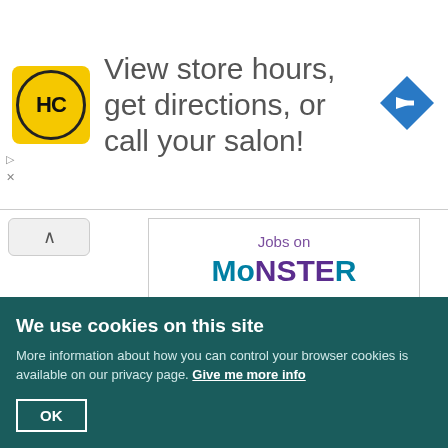[Figure (advertisement): HC salon logo (yellow circle with HC letters) and text: View store hours, get directions, or call your salon! with a blue navigation arrow icon on the right]
[Figure (advertisement): Jobs on Monster advertisement widget showing two job listings: Operating Systems... at Lettuce Entertain You... Chicago, IL; and Service Technician 1 at Clean Energy Fuels, Woodhaven, MI]
We use cookies on this site
More information about how you can control your browser cookies is available on our privacy page. Give me more info
OK